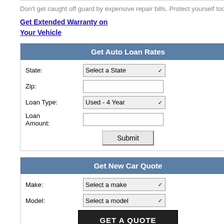Don't get caught off guard by expensive repair bills. Protect yourself today.
Get Extended Warranty on Your Vehicle
Get Auto Loan Rates
State: Select a State | Zip: | Loan Type: Used - 4 Year | Loan Amount: | Submit
Get New Car Quote
Make: Select a make | Model: Select a model | GET A QUOTE
Find Car Parts
Year: Select a year
Pacific and Latin America markets act... year earlier.
Posted in Automotive, Financing | No C
Comments are closed.
EXTENDED WARRANTY QUOTE
Protect your vehicle with an extended warranty! Get a fast free quote on affordable extended warranties for used and new cars here!
Get an Extended Warranty !